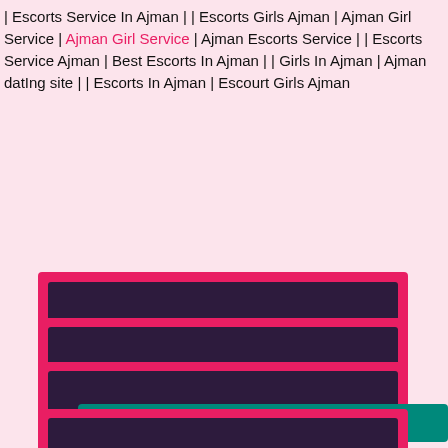| Escorts Service In Ajman | | Escorts Girls Ajman | Ajman Girl Service | Ajman Girl Service | Ajman Escorts Service | | Escorts Service Ajman | Best Escorts In Ajman | | Girls In Ajman | Ajman datIng site | | Escorts In Ajman | Escourt Girls Ajman
DUBAI ESCORTS
ABU DHABI ESCORTS SERVICE
DUBAI ESCORTS SERVICE
Click WhatsApp +971569604300
DUBAI INDIAN ESCORTS